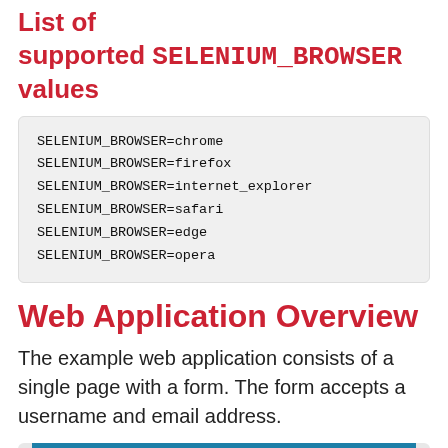List of supported SELENIUM_BROWSER values
SELENIUM_BROWSER=chrome
SELENIUM_BROWSER=firefox
SELENIUM_BROWSER=internet_explorer
SELENIUM_BROWSER=safari
SELENIUM_BROWSER=edge
SELENIUM_BROWSER=opera
Web Application Overview
The example web application consists of a single page with a form. The form accepts a username and email address.
[Figure (screenshot): Screenshot of an example web application with a blue header reading 'Example Web Application' and a Username form field below.]